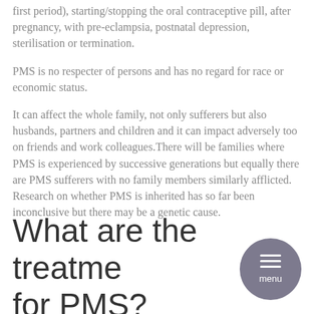first period), starting/stopping the oral contraceptive pill, after pregnancy, with pre-eclampsia, postnatal depression, sterilisation or termination.
PMS is no respecter of persons and has no regard for race or economic status.
It can affect the whole family, not only sufferers but also husbands, partners and children and it can impact adversely too on friends and work colleagues.There will be families where PMS is experienced by successive generations but equally there are PMS sufferers with no family members similarly afflicted. Research on whether PMS is inherited has so far been inconclusive but there may be a genetic cause.
What are the treatments for PMS?